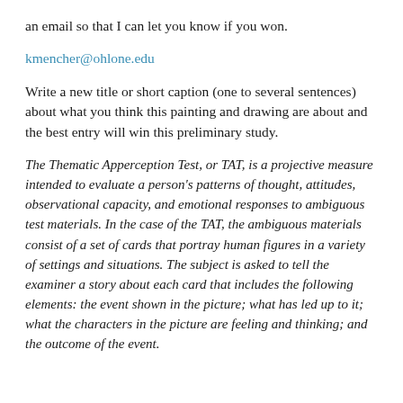an email so that I can let you know if you won.
kmencher@ohlone.edu
Write a new title or short caption (one to several sentences) about what you think this painting and drawing are about and the best entry will win this preliminary study.
The Thematic Apperception Test, or TAT, is a projective measure intended to evaluate a person's patterns of thought, attitudes, observational capacity, and emotional responses to ambiguous test materials. In the case of the TAT, the ambiguous materials consist of a set of cards that portray human figures in a variety of settings and situations. The subject is asked to tell the examiner a story about each card that includes the following elements: the event shown in the picture; what has led up to it; what the characters in the picture are feeling and thinking; and the outcome of the event.